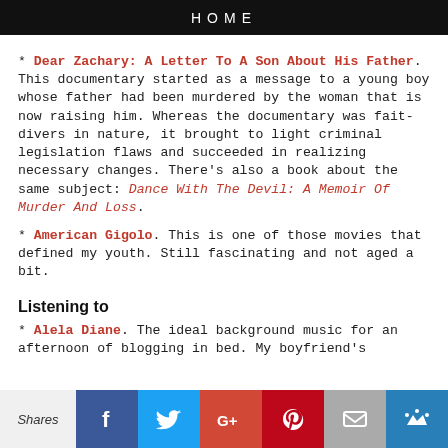HOME
* Dear Zachary: A Letter To A Son About His Father. This documentary started as a message to a young boy whose father had been murdered by the woman that is now raising him. Whereas the documentary was fait-divers in nature, it brought to light criminal legislation flaws and succeeded in realizing necessary changes. There's also a book about the same subject: Dance With The Devil: A Memoir Of Murder And Loss.
* American Gigolo. This is one of those movies that defined my youth. Still fascinating and not aged a bit.
Listening to
* Alela Diane. The ideal background music for an afternoon of blogging in bed. My boyfriend's